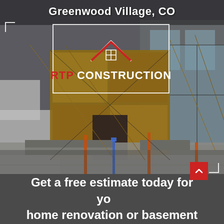[Figure (photo): Construction site background photo showing a building under construction with scaffolding, wooden beams, plywood walls, and concrete foundation work]
Greenwood Village, CO
[Figure (logo): RTP Construction logo with red house/roof icon above text. 'RTP' in red and 'CONSTRUCTION' in white, inside a white bordered rectangle]
Get a free estimate today for your home renovation or basement